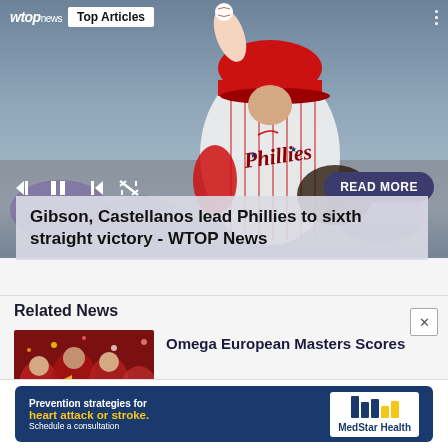[Figure (photo): Philadelphia Phillies pitcher in white pinstripe jersey mid-wind-up throw, wearing red cap, glove visible, blurred crowd background]
wtop news  Top Articles
Gibson, Castellanos lead Phillies to sixth straight victory - WTOP News
Related News
[Figure (photo): Crowd of fans celebrating, red themed, confetti flying]
Omega European Masters Scores
[Figure (screenshot): MedStar Health advertisement: Prevention strategies for heart attack or stroke. Schedule a consultation. MedStar Health logo with blue and yellow flag stripes.]